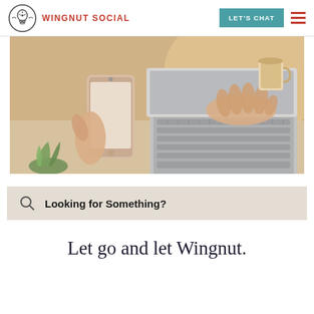WINGNUT SOCIAL | LET'S CHAT
[Figure (photo): Person holding a smartphone in one hand and typing on a laptop keyboard with the other, on a desk with a coffee cup in the background and green plant in the foreground.]
Looking for Something?
Let go and let Wingnut.